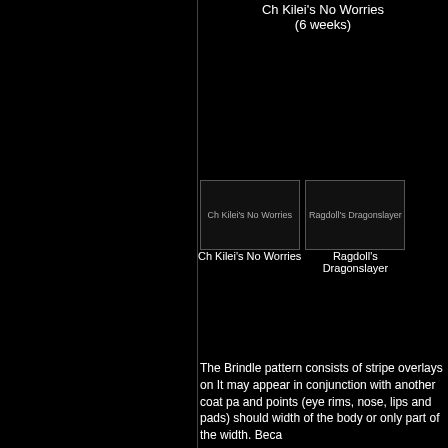Ch Kilei's No Worries
(6 weeks)
[Figure (photo): Photo placeholder for Ch Kilei's No Worries cat]
Ch Kilei's No Worries
[Figure (photo): Photo placeholder for Ragdoll's Dragonslayer cat]
Ragdoll's Dragonslayer
The Brindle pattern consists of stripe overlays on It may appear in conjunction with another coat pa and points (eye rims, nose, lips and pads) should width of the body or only part of the width. Beca